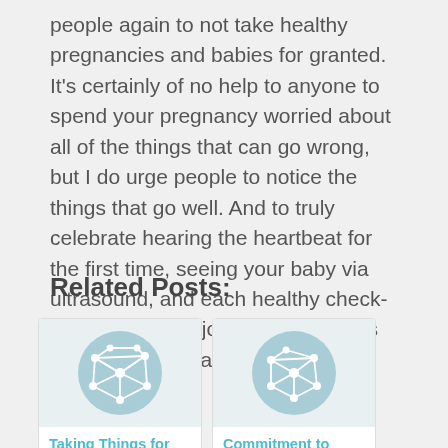people again to not take healthy pregnancies and babies for granted. It's certainly of no help to anyone to spend your pregnancy worried about all of the things that can go wrong, but I do urge people to notice the things that go well. And to truly celebrate hearing the heartbeat for the first time, seeing your baby via ultrasound, and each healthy check-up you have. Enjoy those moments for yourself, but also for those who can't have them.
Related Posts:
[Figure (illustration): Light blue circle with white geometric network/polygon icon]
Taking Things for Granted–The
[Figure (illustration): Light blue circle with white geometric network/polygon icon]
Commitment to Love